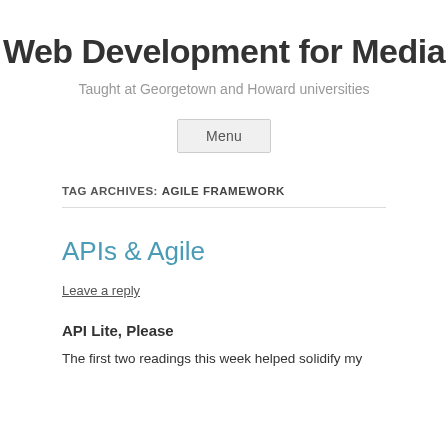Web Development for Media
Taught at Georgetown and Howard universities
Menu
TAG ARCHIVES: AGILE FRAMEWORK
APIs & Agile
Leave a reply
API Lite, Please
The first two readings this week helped solidify my